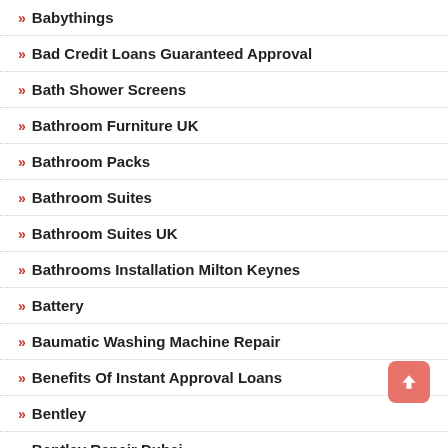Babythings
Bad Credit Loans Guaranteed Approval
Bath Shower Screens
Bathroom Furniture UK
Bathroom Packs
Bathroom Suites
Bathroom Suites UK
Bathrooms Installation Milton Keynes
Battery
Baumatic Washing Machine Repair
Benefits Of Instant Approval Loans
Bentley
Bentley Repair Dubai